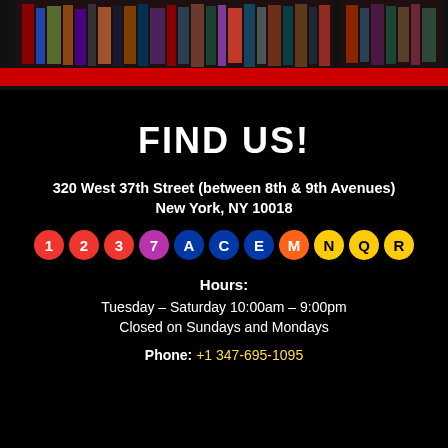[Figure (photo): Top portion showing bookstore shelves with books, dark background with a red bar below]
FIND US!
320 West 37th Street (between 8th & 9th Avenues)
New York, NY 10018
[Figure (infographic): NYC subway line circles: 1, 2, 3 (red), 7 (purple), A, C, E (blue), M (orange), N, Q, R (yellow)]
Hours:
Tuesday – Saturday 10:00am – 9:00pm
Closed on Sundays and Mondays
Phone: +1 347-695-1095